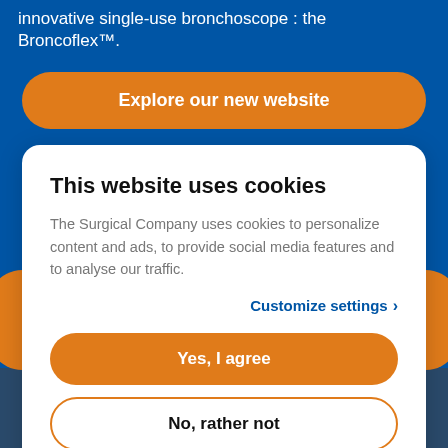innovative single-use bronchoscope : the Broncoflex™.
Explore our new website
This website uses cookies
The Surgical Company uses cookies to personalize content and ads, to provide social media features and to analyse our traffic.
Customize settings ›
Yes, I agree
No, rather not